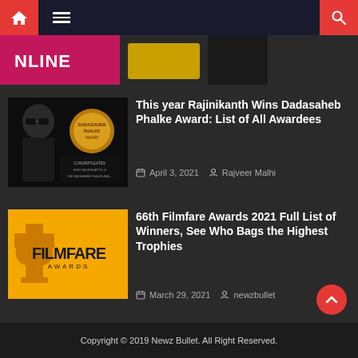Navigation bar with home icon, menu icon, and search icon
[Figure (screenshot): Partial cropped image at top showing NLINE text in pink/magenta and a golden colored area]
[Figure (photo): Thumbnail image of Rajinikanth Dadasaheb Phalke Award announcement with actor portrait on dark background with award medal graphic]
This year Rajinikanth Wins Dadasaheb Phalke Award: List of All Awardees
April 3, 2021   Rajveer Malhi
[Figure (photo): Filmfare Awards golden trophy on yellow/golden background with FILMFARE AWARDS text]
66th Filmfare Awards 2021 Full List of Winners, See Who Bags the Highest Trophies
March 29, 2021   newzbullet
Copyright © 2019 Newz Bullet. All Right Reserved.